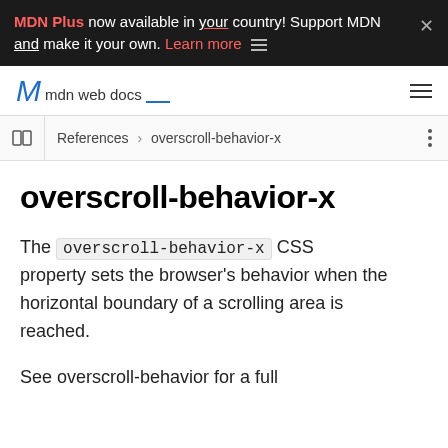MDN Plus now available in your country! Support MDN and make it your own. Learn more
mdn web docs
References > overscroll-behavior-x
overscroll-behavior-x
The overscroll-behavior-x CSS property sets the browser's behavior when the horizontal boundary of a scrolling area is reached.
See overscroll-behavior for a full